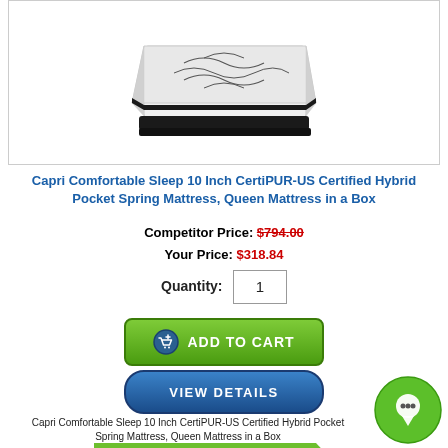[Figure (photo): White queen mattress with black trim and decorative stitching pattern, shown at an angle]
Capri Comfortable Sleep 10 Inch CertiPUR-US Certified Hybrid Pocket Spring Mattress, Queen Mattress in a Box
Competitor Price: $794.00
Your Price: $318.84
Quantity: 1
[Figure (screenshot): Green ADD TO CART button with shopping cart icon]
[Figure (screenshot): Blue VIEW DETAILS button]
Capri Comfortable Sleep 10 Inch CertiPUR-US Certified Hybrid Pocket Spring Mattress, Queen Mattress in a Box
[Figure (infographic): Green FREE SHIPPING banner with truck icon]
[Figure (illustration): Green circular chat bubble icon]